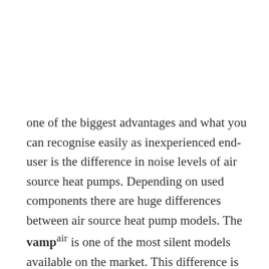one of the biggest advantages and what you can recognise easily as inexperienced end-user is the difference in noise levels of air source heat pumps. Depending on used components there are huge differences between air source heat pump models. The vamp^air is one of the most silent models available on the market. This difference is based in the measures taken in order to avoid or minimise unpleasant air noise and turbulence.